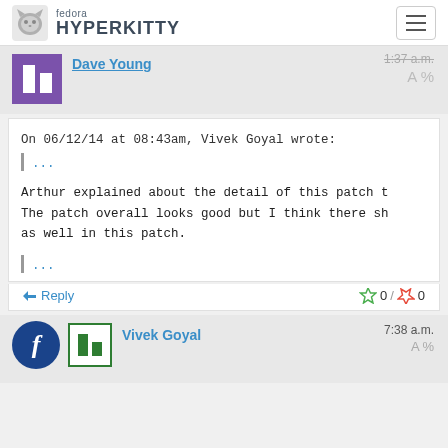fedora HYPERKITTY
Dave Young  1:37 a.m.
On 06/12/14 at 08:43am, Vivek Goyal wrote:
| ...
Arthur explained about the detail of this patch t...
The patch overall looks good but I think there sh...
as well in this patch.
| ...
Reply  0 / 0
Vivek Goyal  7:38 a.m.